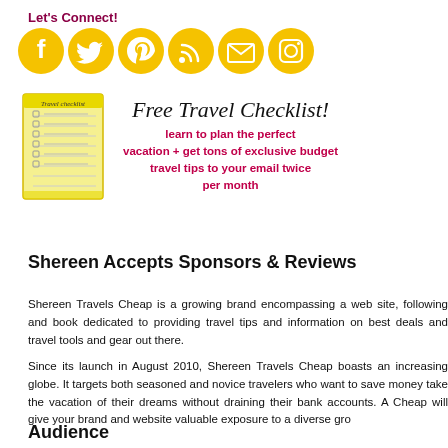Let's Connect!
[Figure (illustration): Six golden circular social media icons: Facebook, Twitter, Pinterest, RSS, Email, Instagram]
[Figure (illustration): Travel checklist image (yellow notepad) alongside Free Travel Checklist promotional text]
Shereen Accepts Sponsors & Reviews
Shereen Travels Cheap is a growing brand encompassing a web site, following and book dedicated to providing travel tips and information on best deals and travel tools and gear out there.
Since its launch in August 2010, Shereen Travels Cheap boasts an increasing globe. It targets both seasoned and novice travelers who want to save money take the vacation of their dreams without draining their bank accounts. A Cheap will give your brand and website valuable exposure to a diverse gro
Audience